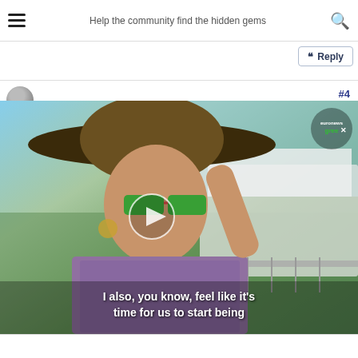Help the community find the hidden gems
Reply
[Figure (screenshot): Video thumbnail showing a woman wearing a wide-brimmed straw hat and green mirrored sunglasses at what appears to be an outdoor festival. She is holding her hat with one hand. In the background there are tents and a white marquee tent. The video has a play button overlay in the center. In the top right corner is the euronews green logo. Text subtitle at bottom reads: 'I also, you know, feel like it's time for us to start being'. Post number #4 shown in top right.]
Reply